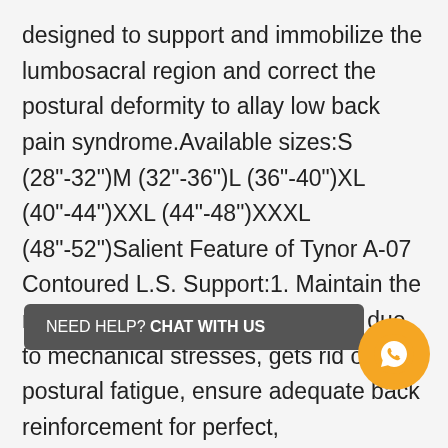designed to support and immobilize the lumbosacral region and correct the postural deformity to allay low back pain syndrome.Available sizes:S (28"-32")M (32"-36")L (36"-40")XL (40"-44")XXL (44"-48")XXXL (48"-52")Salient Feature of Tynor A-07 Contoured L.S. Support:1. Maintain the natural low back curve, allay pain due to mechanical stresses, gets rid of postural fatigue, ensure adequate back reinforcement for perfect, immobilization.2. Malleable and customizable offers accurate support, light in weight, offer better patient compliance, contoured and rigid splinting provides immobilization in the neutral position to stabilize the vertebral ... for secure fitting, better immobilization prevent belt slippage.4. Offers high cushioning even in thin sections, provides better patient comfort without